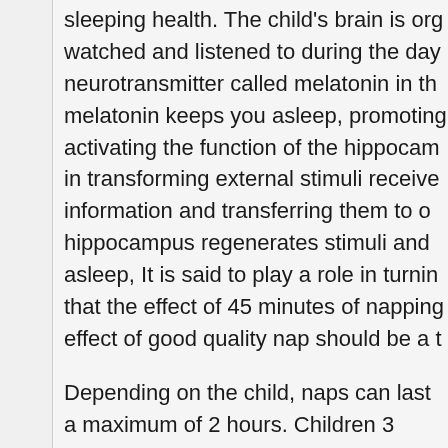sleeping health. The child's brain is org watched and listened to during the day neurotransmitter called melatonin in th melatonin keeps you asleep, promoting activating the function of the hippocam in transforming external stimuli receive information and transferring them to o hippocampus regenerates stimuli and asleep, It is said to play a role in turnin that the effect of 45 minutes of napping effect of good quality nap should be a t
Depending on the child, naps can last a maximum of 2 hours. Children 3 years they are tired because children who are many health problems. However, starti of the child, naps may no longer be nec